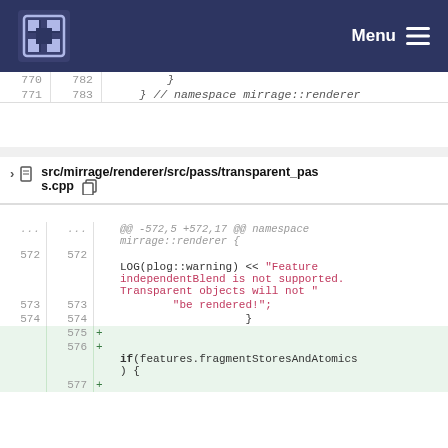Menu
770  782    }
771  783    } // namespace mirrage::renderer
src/mirrage/renderer/src/pass/transparent_pass.cpp
@@ -572,5 +572,17 @@ namespace mirrage::renderer {
572  572    LOG(plog::warning) << "Feature independentBlend is not supported. Transparent objects will not "
573  573             "be rendered!";
574  574                    }
     575  +
     576  +
           if(features.fragmentStoresAndAtomics) {
     577  +